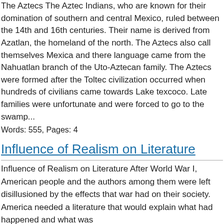The Aztecs The Aztec Indians, who are known for their domination of southern and central Mexico, ruled between the 14th and 16th centuries. Their name is derived from Azatlan, the homeland of the north. The Aztecs also call themselves Mexica and there language came from the Nahuatlan branch of the Uto-Aztecan family. The Aztecs were formed after the Toltec civilization occurred when hundreds of civilians came towards Lake texcoco. Late families were unfortunate and were forced to go to the swamp...
Words: 555, Pages: 4
Influence of Realism on Literature
Influence of Realism on Literature After World War I, American people and the authors among them were left disillusioned by the effects that war had on their society. America needed a literature that would explain what had happened and what was